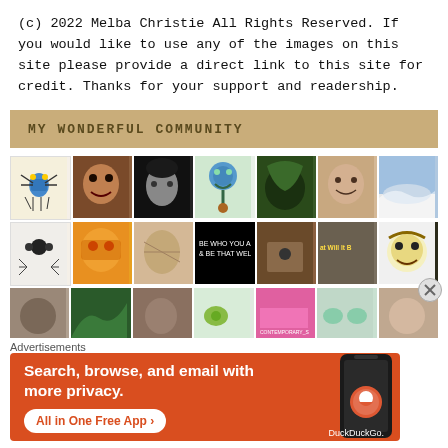(c) 2022 Melba Christie All Rights Reserved. If you would like to use any of the images on this site please provide a direct link to this site for credit. Thanks for your support and readership.
MY WONDERFUL COMMUNITY
[Figure (photo): Grid of community member avatars/photos arranged in rows]
Advertisements
[Figure (infographic): DuckDuckGo advertisement banner: Search, browse, and email with more privacy. All in One Free App]